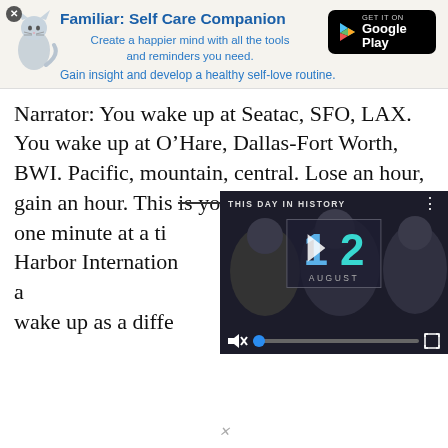[Figure (screenshot): App advertisement banner for 'Familiar: Self Care Companion' with a cat icon and Google Play button]
Familiar: Self Care Companion
Create a happier mind with all the tools and reminders you need.
Gain insight and develop a healthy self-love routine.
Narrator: You wake up at Seatac, SFO, LAX. You wake up at O’Hare, Dallas-Fort Worth, BWI. Pacific, mountain, central. Lose an hour, gain an hour. This is your life, and it’s ending one minute at a time. You wake up at Air Harbor International Airport. Something is different. A different time, in a different place. And wake up as a diffe
[Figure (screenshot): Video player overlay showing 'THIS DAY IN HISTORY' with date 12 AUGUST, muted with progress bar and expand button]